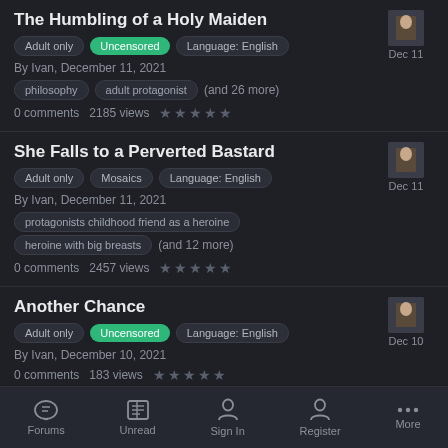The Humbling of a Holy Maiden
Adult only | Uncensored | Language: English
By Ivan, December 11, 2021
philosophy | adult protagonist | (and 26 more)
0 comments   2185 views
She Falls to a Perverted Bastard
Adult only | Mosaics | Language: English
By Ivan, December 11, 2021
protagonists childhood friend as a heroine | heroine with big breasts | (and 12 more)
0 comments   2457 views
Another Chance
Adult only | Uncensored | Language: English
By Ivan, December 10, 2021
0 comments   183 views
Forums   Unread   Sign In   Register   More